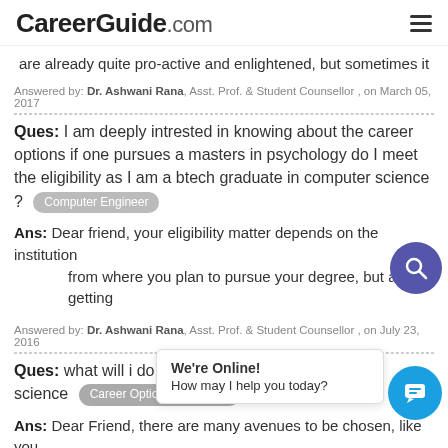CareerGuide.com
are already quite pro-active and enlightened, but sometimes it
Answered by: Dr. Ashwani Rana, Asst. Prof. & Student Counsellor , on March 05, 2017
Ques: I am deeply intrested in knowing about the career options if one pursues a masters in psychology do I meet the eligibility as I am a btech graduate in computer science ? [Computer Engineer]
Ans: Dear friend, your eligibility matter depends on the institution from where you plan to pursue your degree, but after getting
Answered by: Dr. Ashwani Rana, Asst. Prof. & Student Counsellor , on July 23, 2016
Ques: what will i do i have completed my 12th from science [Career Options After PCM]
Ans: Dear Friend, there are many avenues to be chosen, like you may go for pursuing B.SC. or choose certain paramedical
Answered by: Dr. Ashwani Ran... on ...
Ques: Procedure to get selected in Army after passing
[Figure (other): Search icon circle (purple) and chat bubble overlay with 'We're Online! How may I help you today?' popup]